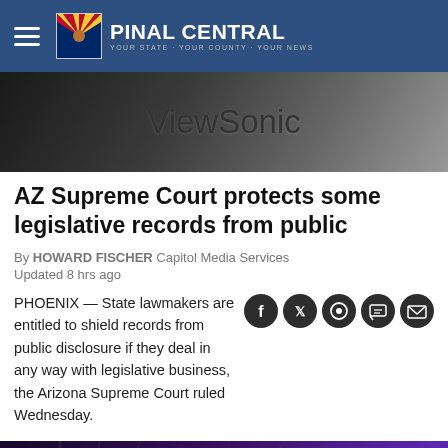Pinal Central — Your State · Your County · Your News
[Figure (photo): ViewSonic monitor or display panel, dark gray tones, close-up shot]
AZ Supreme Court protects some legislative records from public
By HOWARD FISCHER Capitol Media Services
Updated 8 hrs ago
PHOENIX — State lawmakers are entitled to shield records from public disclosure if they deal in any way with legislative business, the Arizona Supreme Court ruled Wednesday.
[Figure (photo): Person speaking at a microphone on stage with purple stage lighting and camera equipment overhead]